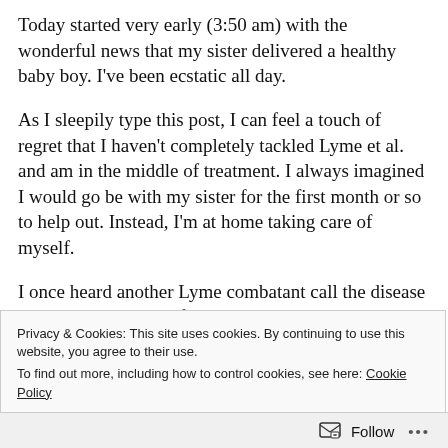Today started very early (3:50 am) with the wonderful news that my sister delivered a healthy baby boy. I've been ecstatic all day.
As I sleepily type this post, I can feel a touch of regret that I haven't completely tackled Lyme et al. and am in the middle of treatment. I always imagined I would go be with my sister for the first month or so to help out. Instead, I'm at home taking care of myself.
I once heard another Lyme combatant call the disease an invisible prison. I feel that way tonight.
Privacy & Cookies: This site uses cookies. By continuing to use this website, you agree to their use.
To find out more, including how to control cookies, see here: Cookie Policy
Close and accept
Follow ...